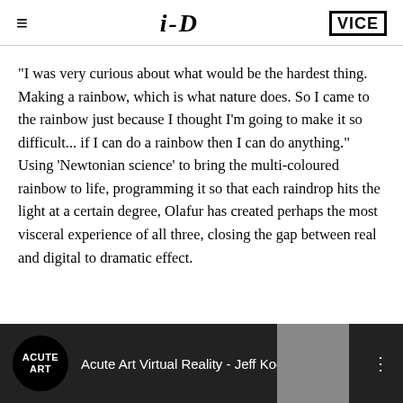i-D / VICE
"I was very curious about what would be the hardest thing. Making a rainbow, which is what nature does. So I came to the rainbow just because I thought I'm going to make it so difficult... if I can do a rainbow then I can do anything." Using 'Newtonian science' to bring the multi-coloured rainbow to life, programming it so that each raindrop hits the light at a certain degree, Olafur has created perhaps the most visceral experience of all three, closing the gap between real and digital to dramatic effect.
[Figure (screenshot): Video thumbnail showing Acute Art Virtual Reality - Jeff Koo... with Acute Art logo on black circle and a person's face partially visible]